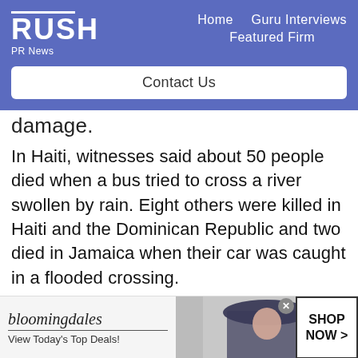RUSH PR News — Home | Guru Interviews | Featured Firm | Contact Us
damage.
In Haiti, witnesses said about 50 people died when a bus tried to cross a river swollen by rain. Eight others were killed in Haiti and the Dominican Republic and two died in Jamaica when their car was caught in a flooded crossing.
[Figure (screenshot): Bloomingdale's advertisement banner with model wearing a hat, 'View Today's Top Deals!' tagline and 'SHOP NOW >' button]